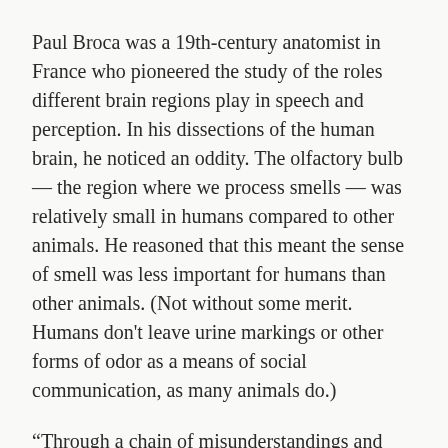Paul Broca was a 19th-century anatomist in France who pioneered the study of the roles different brain regions play in speech and perception. In his dissections of the human brain, he noticed an oddity. The olfactory bulb — the region where we process smells — was relatively small in humans compared to other animals. He reasoned that this meant the sense of smell was less important for humans than other animals. (Not without some merit. Humans don't leave urine markings or other forms of odor as a means of social communication, as many animals do.)
“Through a chain of misunderstandings and exaggerations beginning with Broca himself, this conclusion warped into the modern